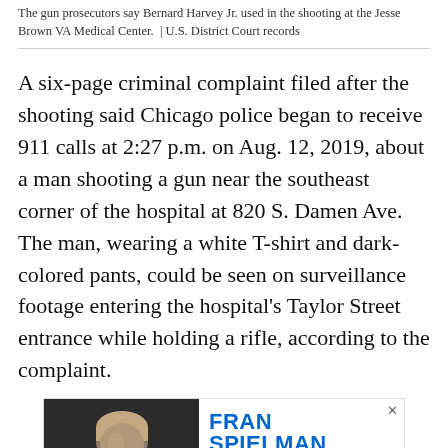The gun prosecutors say Bernard Harvey Jr. used in the shooting at the Jesse Brown VA Medical Center. | U.S. District Court records
A six-page criminal complaint filed after the shooting said Chicago police began to receive 911 calls at 2:27 p.m. on Aug. 12, 2019, about a man shooting a gun near the southeast corner of the hospital at 820 S. Damen Ave. The man, wearing a white T-shirt and dark-colored pants, could be seen on surveillance footage entering the hospital's Taylor Street entrance while holding a rifle, according to the complaint.
[Figure (infographic): Advertisement for the Fran Spielman Show podcast featuring a black-and-white photo of Fran Spielman and text about Brandon Johnson guest appearance]